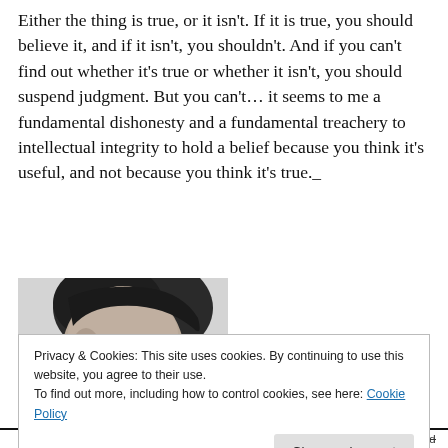Either the thing is true, or it isn't. If it is true, you should believe it, and if it isn't, you shouldn't. And if you can't find out whether it's true or whether it isn't, you should suspend judgment. But you can't… it seems to me a fundamental dishonesty and a fundamental treachery to intellectual integrity to hold a belief because you think it's useful, and not because you think it's true._
[Figure (photo): Black and white photograph of a man with slicked-back dark hair, shown from the shoulders up, looking downward with a serious expression.]
Privacy & Cookies: This site uses cookies. By continuing to use this website, you agree to their use. To find out more, including how to control cookies, see here: Cookie Policy
Close and accept
Francis Gonsalvez noted